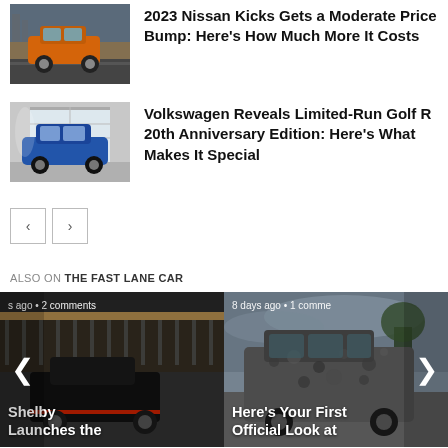[Figure (photo): Orange Nissan Kicks SUV on road]
2023 Nissan Kicks Gets a Moderate Price Bump: Here's How Much More It Costs
[Figure (photo): Blue Volkswagen Golf R in garage]
Volkswagen Reveals Limited-Run Golf R 20th Anniversary Edition: Here's What Makes It Special
< >
ALSO ON THE FAST LANE CAR
[Figure (photo): Shelby car on race track - s ago • 2 comments]
[Figure (photo): Camouflaged SUV - 8 days ago • 1 comme]
Shelby Launches the
Here's Your First Official Look at